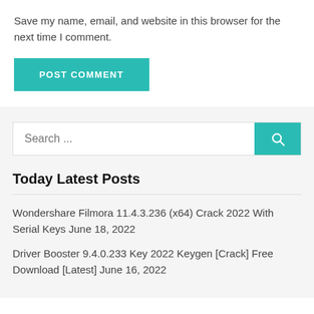Save my name, email, and website in this browser for the next time I comment.
POST COMMENT
Search ...
Today Latest Posts
Wondershare Filmora 11.4.3.236 (x64) Crack 2022 With Serial Keys June 18, 2022
Driver Booster 9.4.0.233 Key 2022 Keygen [Crack] Free Download [Latest] June 16, 2022